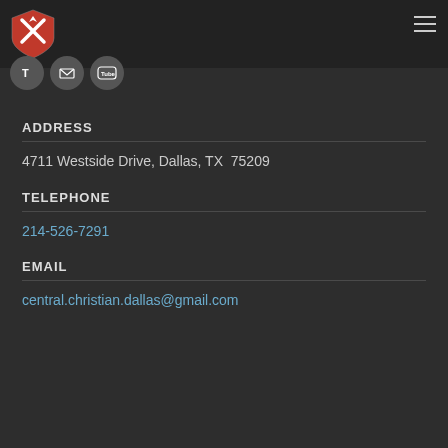[Figure (logo): Red and white shield logo with a stylized X or crossed arrow icon]
[Figure (illustration): Three circular social media icon buttons: Twitter/T, Email/envelope, YouTube]
ADDRESS
4711 Westside Drive, Dallas, TX  75209
TELEPHONE
214-526-7291
EMAIL
central.christian.dallas@gmail.com